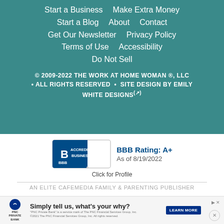Start a Business
Make Extra Money
Start a Blog
About
Contact
Get Our Newsletter
Privacy Policy
Terms of Use
Accessibility
Do Not Sell
© 2009-2022 THE WORK AT HOME WOMAN ®, LLC • ALL RIGHTS RESERVED • SITE DESIGN BY EMILY WHITE DESIGNS
[Figure (logo): BBB Accredited Business badge with BBB Rating: A+ as of 8/19/2022, Click for Profile]
AN ELITE CAFEMEDIA FAMILY & PARENTING PUBLISHER
[Figure (screenshot): PNC Private Bank advertisement: Simply tell us, what's your why? with LEARN MORE button]